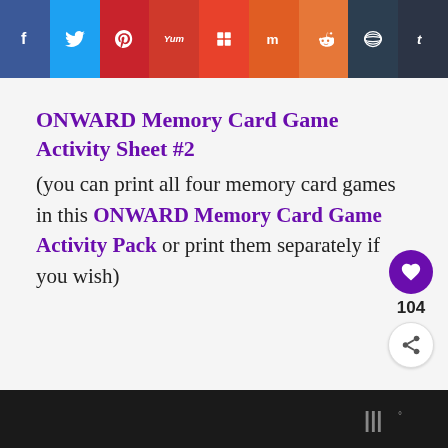[Figure (screenshot): Social sharing toolbar with icons for Facebook, Twitter, Pinterest, Yummly, Flipboard, Mix, Reddit, Buffer/Layers, and Tumblr]
ONWARD Memory Card Game Activity Sheet #2
(you can print all four memory card games in this ONWARD Memory Card Game Activity Pack or print them separately if you wish)
Website footer with logo mark